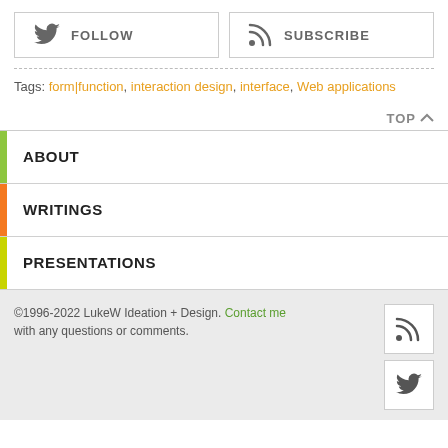FOLLOW
SUBSCRIBE
Tags: form|function, interaction design, interface, Web applications
TOP
ABOUT
WRITINGS
PRESENTATIONS
©1996-2022 LukeW Ideation + Design. Contact me with any questions or comments.